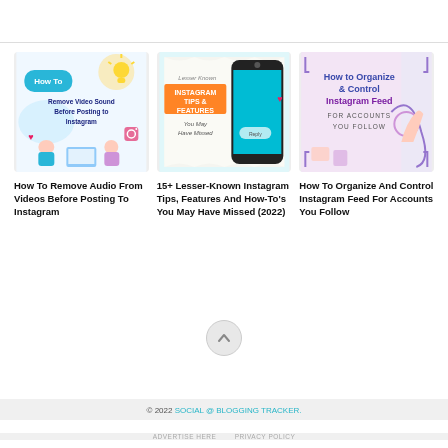[Figure (illustration): Thumbnail image for article: How to remove video sound before posting to Instagram. Shows cartoon people with computer, blue speech bubble saying How To, lightbulb, and text.]
How To Remove Audio From Videos Before Posting To Instagram
[Figure (illustration): Thumbnail image for article: 15+ Lesser-Known Instagram Tips. Shows a smartphone with colorful text overlay: Lesser Known Instagram Tips & Features You May Have Missed.]
15+ Lesser-Known Instagram Tips, Features And How-To’s You May Have Missed (2022)
[Figure (illustration): Thumbnail image for article: How to Organize and Control Instagram Feed. Shows bold purple and blue text: How to Organize & Control Instagram Feed FOR ACCOUNTS YOU FOLLOW, with decorative elements.]
How To Organize And Control Instagram Feed For Accounts You Follow
© 2022 SOCIAL @ BLOGGING TRACKER.
ADVERTISE HERE    PRIVACY POLICY